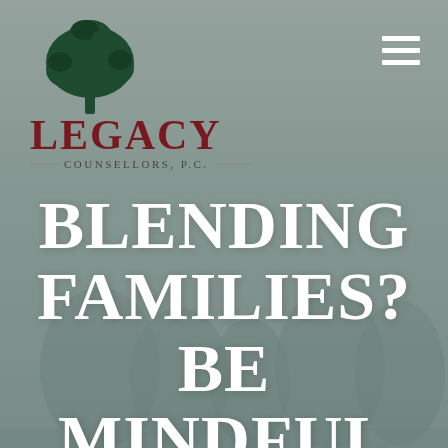[Figure (logo): Legacy Counsellors P.C. logo with a dark green oak tree above the word LEGACY in dark red serif font, and 'Counsellors, P.C.' in small caps below with decorative lines]
BLENDING FAMILIES? BE MINDFUL OF YOUR ESTATE